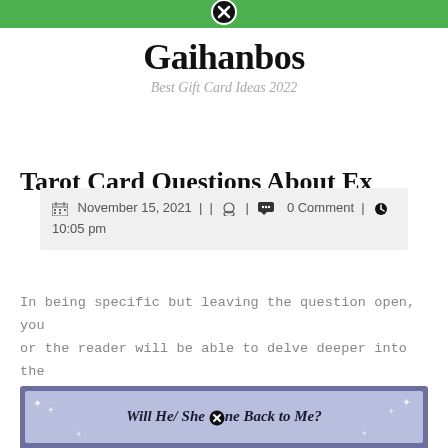Gaihanbos — Best Gift Card Ideas 2022
Tarot Card Questions About Ex
November 15, 2021 | | 0 Comment | 10:05 pm
In being specific but leaving the question open, you or the reader will be able to delve deeper into the symbolism and meaning behind the cards that are pulled. Now however, people use tarot cards to get a reading on their life to help them make decisions.
[Figure (illustration): Decorative banner image with text 'Will He/ She Come Back to Me?' on a blue/purple background with stars]